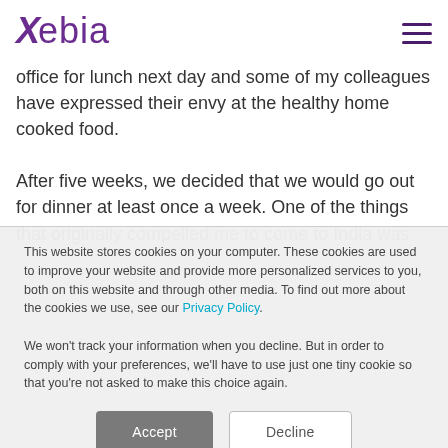Xebia
office for lunch next day and some of my colleagues have expressed their envy at the healthy home cooked food.
After five weeks, we decided that we would go out for dinner at least once a week. One of the things that originally compelled me to come to India was
This website stores cookies on your computer. These cookies are used to improve your website and provide more personalized services to you, both on this website and through other media. To find out more about the cookies we use, see our Privacy Policy.

We won't track your information when you decline. But in order to comply with your preferences, we'll have to use just one tiny cookie so that you're not asked to make this choice again.